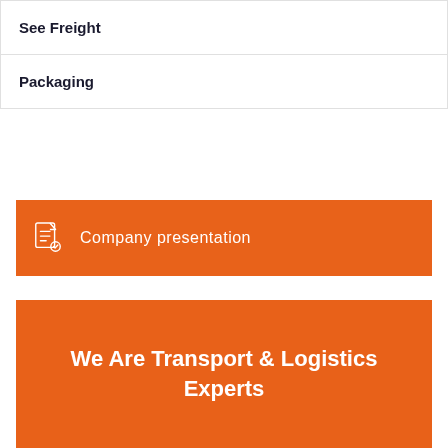See Freight
Packaging
Company presentation
We Are Transport & Logistics Experts